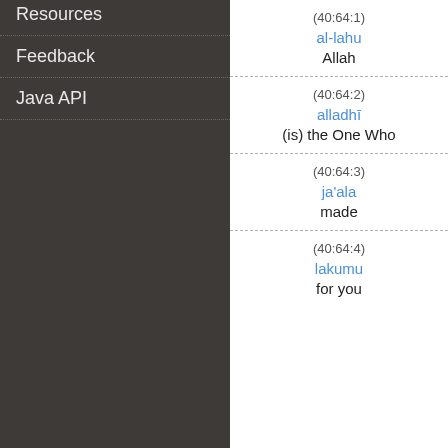Resources
Feedback
Java API
(40:64:1)
al-lahu
Allah
(40:64:2)
alladhī
(is) the One Who
(40:64:3)
ja'ala
made
(40:64:4)
lakumu
for you